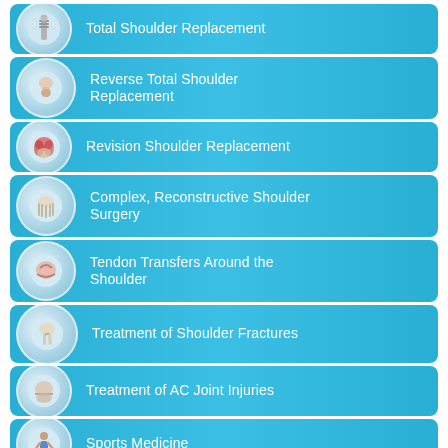Total Shoulder Replacement
Reverse Total Shoulder Replacement
Revision Shoulder Replacement
Complex, Reconstructive Shoulder Surgery
Tendon Transfers Around the Shoulder
Treatment of Shoulder Fractures
Treatment of AC Joint Injuries
Sports Medicine